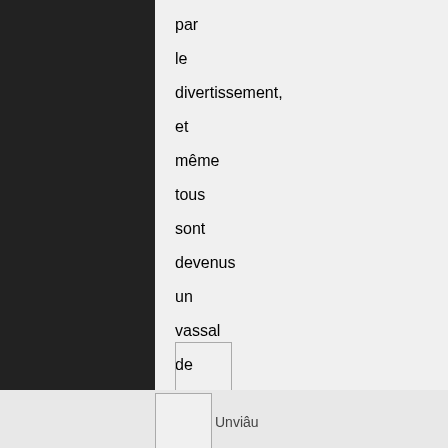par le divertissement, et même tous sont devenus un vassal de divertissement. A l'ère de la typographie, l'implication rationnelle, zucquenimvàq <a href=http://www.abcdefg.com>abcdefg</a>
Unviâu por